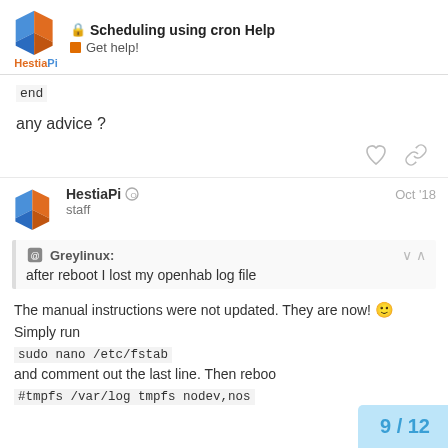Scheduling using cron Help — Get help!
end
any advice ?
HestiaPi staff — Oct '18
Greylinux: after reboot I lost my openhab log file
The manual instructions were not updated. They are now! Simply run sudo nano /etc/fstab and comment out the last line. Then reboot. #tmpfs /var/log tmpfs nodev,nos
9 / 12